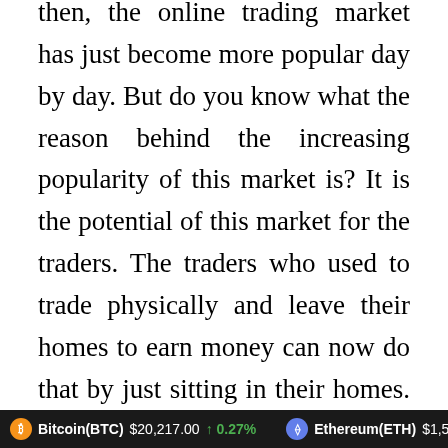then, the online trading market has just become more popular day by day. But do you know what the reason behind the increasing popularity of this market is? It is the potential of this market for the traders. The traders who used to trade physically and leave their homes to earn money can now do that by just sitting in their homes. Who would want to leave his comfort zone and go out to earn money when you can earn a lot more by just sitting at your home
Bitcoin(BTC) $20,217.00 ↑ 0.27%   Ethereum(ETH) $1,581.54 ↑